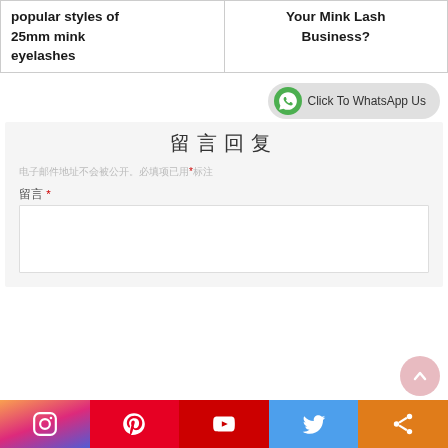popular styles of 25mm mink eyelashes
Your Mink Lash Business?
[Figure (other): WhatsApp chat button with phone icon and text 'Click To WhatsApp Us']
留言回复
电子邮件地址不会被公开。必填项已用*标注
留言 *
Instagram | Pinterest | YouTube | Twitter | Share social media bar